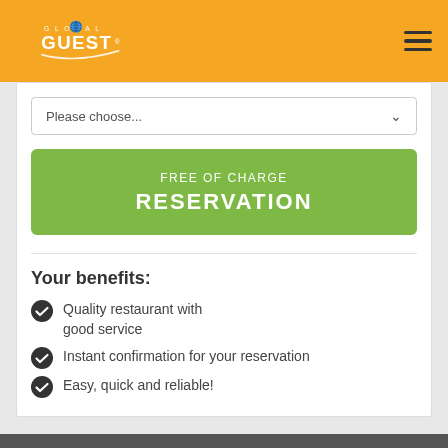[Figure (logo): Global Guest logo with globe icon and swoosh on yellow/orange header]
Please choose...
FREE OF CHARGE
RESERVATION
Your benefits:
Quality restaurant with good service
Instant confirmation for your reservation
Easy, quick and reliable!